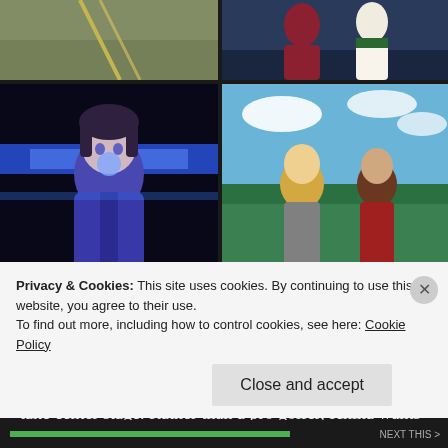[Figure (photo): Four anime screenshots in a 2x2 grid. Top-left: golf scene with yellow/green tones. Top-right: two characters in white and dark uniforms facing each other. Bottom-left: dark-haired female anime character with blue glow/bubble gum effect on dark background. Bottom-right: two female anime characters outdoors with trees and blue sky.]
This week we have a new setting in Raiou Girl's Academy and a new protagonist in Saotome Ichina. We got a glimpse of both earlier in the series, but now they take center stage. Rather than a pro golfer, Ichina wants to be a pro caddy, as the best of the former
Privacy & Cookies: This site uses cookies. By continuing to use this website, you agree to their use.
To find out more, including how to control cookies, see here: Cookie Policy
Close and accept